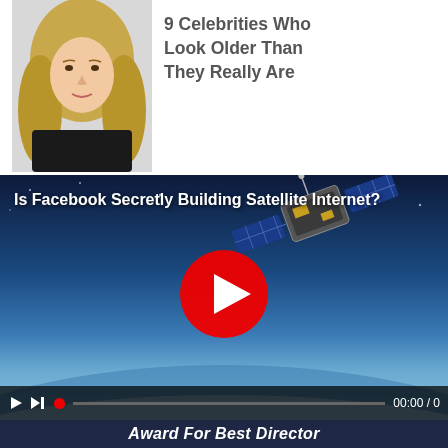[Figure (photo): Cropped photo of a blonde woman in a black top, shot from shoulders up, white background]
9 Celebrities Who Look Older Than They Really Are
[Figure (screenshot): Video thumbnail showing a satellite in space above Earth with a red play button overlay and title 'Is Facebook Secretly Building Satellite Internet?']
Award For Best Director